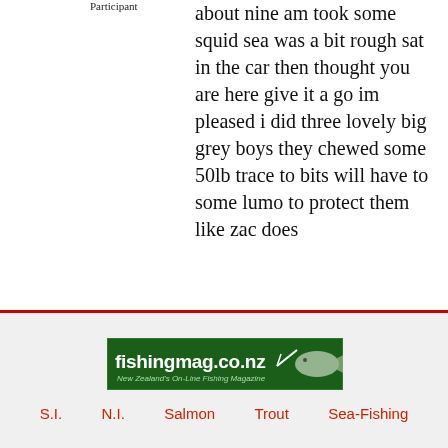Participant
about nine am took some squid sea was a bit rough sat in the car then thought you are here give it a go im pleased i did three lovely big grey boys they chewed some 50lb trace to bits will have to some lumo to protect them like zac does
[Figure (logo): fishingmag.co.nz - New Zealand's On-Line Fishing Magazine banner logo, dark green background with white bold text and a fish silhouette illustration]
S.I.   N.I.   Salmon   Trout   Sea-Fishing